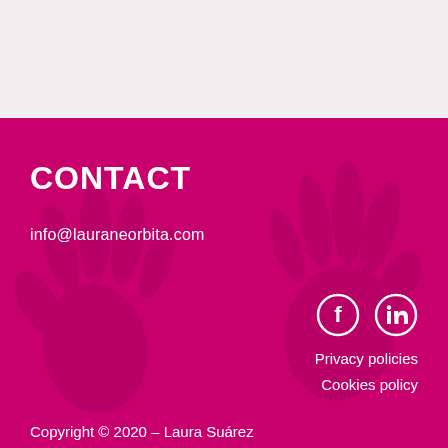CONTACT
info@lauraneorbita.com
[Figure (illustration): Social media icons: Facebook and LinkedIn circles in white on magenta background]
Privacy policies
Cookies policy
Copyright © 2020 – Laura Suárez